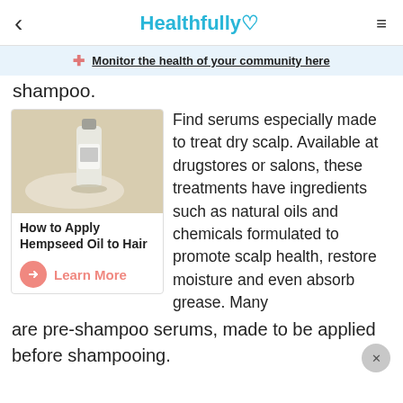Healthfully ♥
Monitor the health of your community here
shampoo.
[Figure (photo): A small bottle of hempseed oil product on a lace doily surface]
How to Apply Hempseed Oil to Hair
Learn More
Find serums especially made to treat dry scalp. Available at drugstores or salons, these treatments have ingredients such as natural oils and chemicals formulated to promote scalp health, restore moisture and even absorb grease. Many are pre-shampoo serums, made to be applied before shampooing.